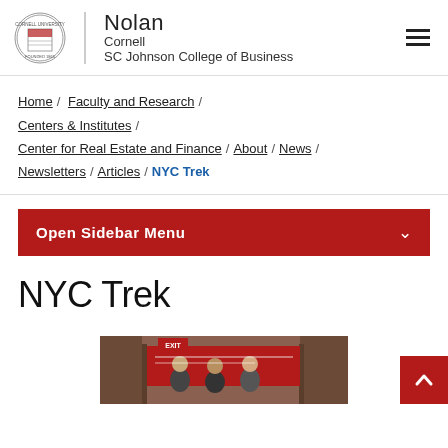Nolan Cornell SC Johnson College of Business
Home / Faculty and Research / Centers & Institutes / Center for Real Estate and Finance / About / News / Newsletters / Articles / NYC Trek
Open Sidebar Menu
NYC Trek
[Figure (photo): Group photo of people standing in front of a red Cornell banner]